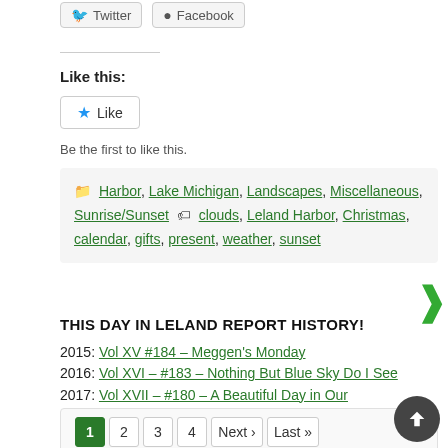Twitter  Facebook
Like this:
Like
Be the first to like this.
Harbor, Lake Michigan, Landscapes, Miscellaneous, Sunrise/Sunset  clouds, Leland Harbor, Christmas, calendar, gifts, present, weather, sunset
THIS DAY IN LELAND REPORT HISTORY!
2015: Vol XV #184 – Meggen's Monday
2016: Vol XVI – #183 – Nothing But Blue Sky Do I See
2017: Vol XVII – #180 – A Beautiful Day in Our Nieghborhood
2018: Vol XVIII – #176 – The Sky is Dark and Gray
2019: Vol XIX – #178 – Another Sunshine Fishtown Day
1  2  3  4  Next ›  Last »